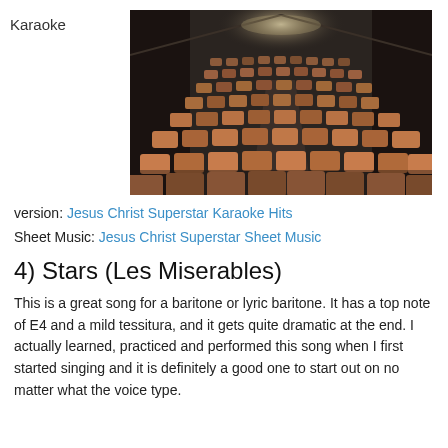Karaoke
[Figure (photo): Interior of an empty theater with rows of brown/orange seats viewed from the back, stage visible in the distance under dim lighting.]
version: Jesus Christ Superstar Karaoke Hits
Sheet Music: Jesus Christ Superstar Sheet Music
4) Stars (Les Miserables)
This is a great song for a baritone or lyric baritone. It has a top note of E4 and a mild tessitura, and it gets quite dramatic at the end. I actually learned, practiced and performed this song when I first started singing and it is definitely a good one to start out on no matter what the voice type.